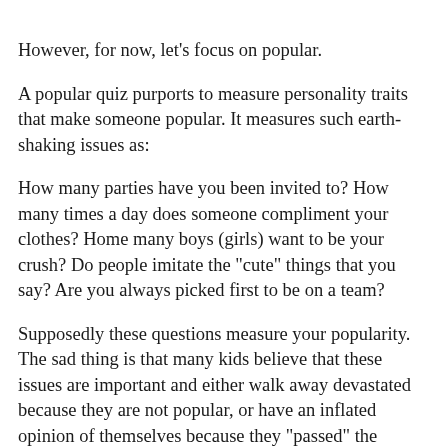However, for now, let's focus on popular.
A popular quiz purports to measure personality traits that make someone popular. It measures such earth-shaking issues as:
How many parties have you been invited to? How many times a day does someone compliment your clothes? Home many boys (girls) want to be your crush? Do people imitate the "cute" things that you say? Are you always picked first to be on a team?
Supposedly these questions measure your popularity. The sad thing is that many kids believe that these issues are important and either walk away devastated because they are not popular, or have an inflated opinion of themselves because they "passed" the popular quiz.